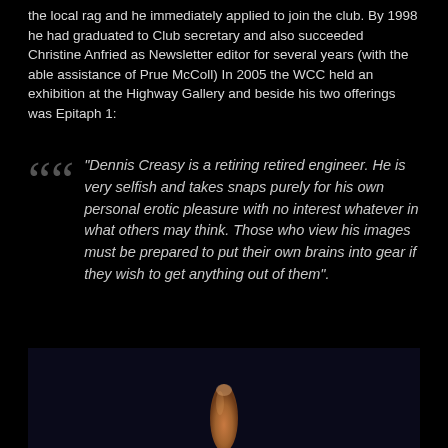the local rag and he immediately applied to join the club. By 1998 he had graduated to Club secretary and also succeeded Christine Anfried as Newsletter editor for several years (with the able assistance of Prue McColl) In 2005 the WCC held an exhibition at the Highway Gallery and beside his two offerings was Epitaph 1:
“Dennis Creasy is a retiring retired engineer. He is very selfish and takes snaps purely for his own personal erotic pleasure with no interest whatever in what others may think. Those who view his images must be prepared to put their own brains into gear if they wish to get anything out of them”.
[Figure (photo): Dark photograph on black background showing what appears to be a hand or finger illuminated against a very dark navy/black background.]